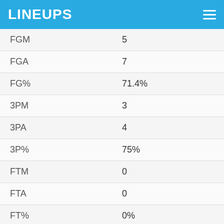LINEUPS
| Stat | Value |
| --- | --- |
| FGM | 5 |
| FGA | 7 |
| FG% | 71.4% |
| 3PM | 3 |
| 3PA | 4 |
| 3P% | 75% |
| FTM | 0 |
| FTA | 0 |
| FT% | 0% |
| TOV | 1 |
| Rebounds |  |
| TRB | 6 |